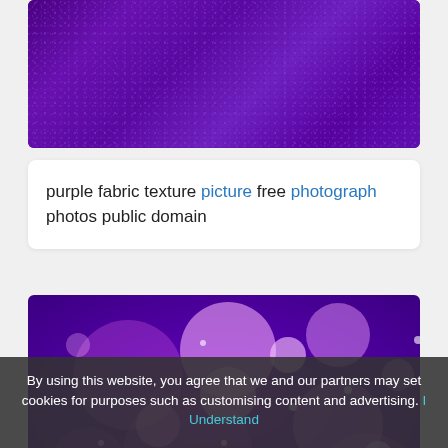[Figure (photo): Purple fabric texture close-up photo showing woven textile with deep purple/violet color]
purple fabric texture picture free photograph photos public domain
[Figure (photo): Purple bokeh background with blurred circles of light in various sizes, pink and purple tones]
By using this website, you agree that we and our partners may set cookies for purposes such as customising content and advertising. I Understand
free photo purple bokeh bokeh color effect free download looinn